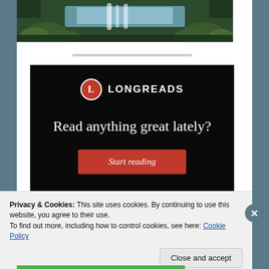[Figure (photo): Nature landscape photo showing a stream or waterfall surrounded by mossy green rocks and forest, cropped at top of page]
[Figure (infographic): Longreads advertisement on black background. Shows the Longreads logo (red circle with L, followed by 'LONGREADS' in white caps), headline 'Read anything great lately?' in white serif font, and a red 'Start reading' button.]
Privacy & Cookies: This site uses cookies. By continuing to use this website, you agree to their use.
To find out more, including how to control cookies, see here: Cookie Policy
Close and accept